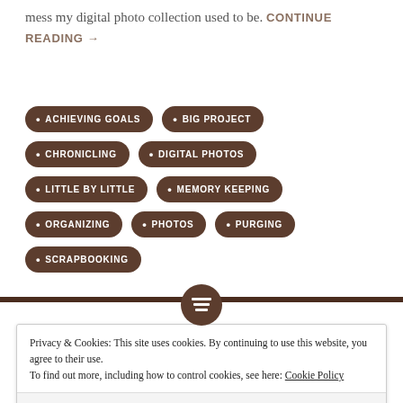mess my digital photo collection used to be. CONTINUE READING →
• ACHIEVING GOALS
• BIG PROJECT
• CHRONICLING
• DIGITAL PHOTOS
• LITTLE BY LITTLE
• MEMORY KEEPING
• ORGANIZING
• PHOTOS
• PURGING
• SCRAPBOOKING
Privacy & Cookies: This site uses cookies. By continuing to use this website, you agree to their use.
To find out more, including how to control cookies, see here: Cookie Policy
Close and accept